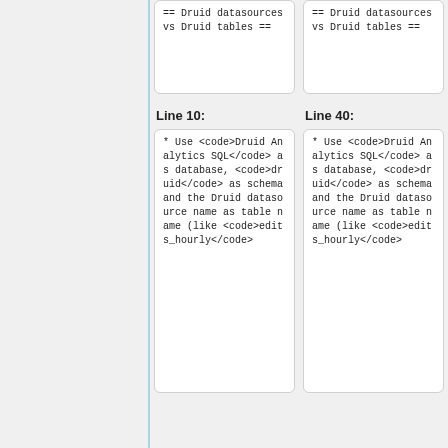== Druid datasources vs Druid tables ==
== Druid datasources vs Druid tables ==
Line 10:
Line 40:
* Use <code>Druid Analytics SQL</code> as database, <code>druid</code> as schema and the Druid datasource name as table name (like <code>edits_hourly</code>...
* Use <code>Druid Analytics SQL</code> as database, <code>druid</code> as schema and the Druid datasource name as table name (like <code>edits_hourly</code>...